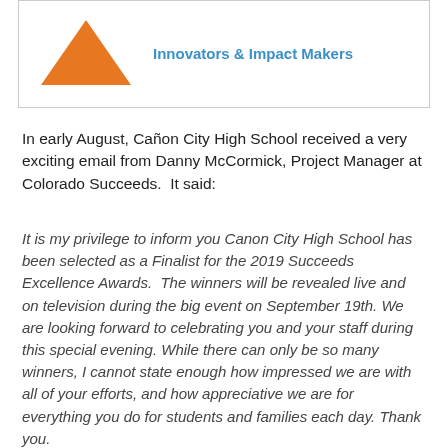[Figure (logo): Colorado Succeeds logo with orange triangle graphic and text 'Innovators & Impact Makers' in blue]
In early August, Cañon City High School received a very exciting email from Danny McCormick, Project Manager at Colorado Succeeds.  It said:
It is my privilege to inform you Canon City High School has been selected as a Finalist for the 2019 Succeeds Excellence Awards.  The winners will be revealed live and on television during the big event on September 19th. We are looking forward to celebrating you and your staff during this special evening. While there can only be so many winners, I cannot state enough how impressed we are with all of your efforts, and how appreciative we are for everything you do for students and families each day. Thank you.